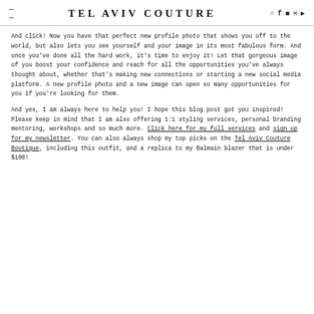TEL AVIV COUTURE
And click! Now you have that perfect new profile photo that shows you off to the world, but also lets you see yourself and your image in its most fabulous form. And once you've done all the hard work, it's time to enjoy it! Let that gorgeous image of you boost your confidence and reach for all the opportunities you've always thought about, whether that's making new connections or starting a new social media platform. A new profile photo and a new image can open so many opportunities for you if you're looking for them.
And yes, I am always here to help you! I hope this blog post got you inspired! Please keep in mind that I am also offering 1:1 styling services, personal branding mentoring, workshops and so much more. Click here for my full services and sign up for my newsletter. You can also always shop my top picks on the Tel Aviv Couture Boutique, including this outfit, and a replica to my Balmain blazer that is under $100!